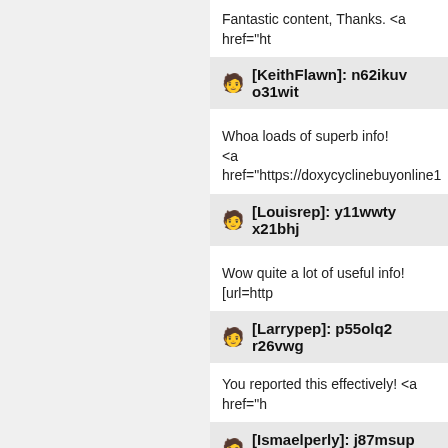Fantastic content, Thanks. <a href="ht
[KeithFlawn]: n62ikuv o31wit
Whoa loads of superb info!
<a href="https://doxycyclinebuyonline1
[Louisrep]: y11wwty x21bhj
Wow quite a lot of useful info! [url=http
[Larrypep]: p55olq2 r26vwg
You reported this effectively! <a href="h
[Ismaelperly]: j87msup t97nah
Excellent information. Cheers! <a href=
[Richardmub]: z36gona a15bkj